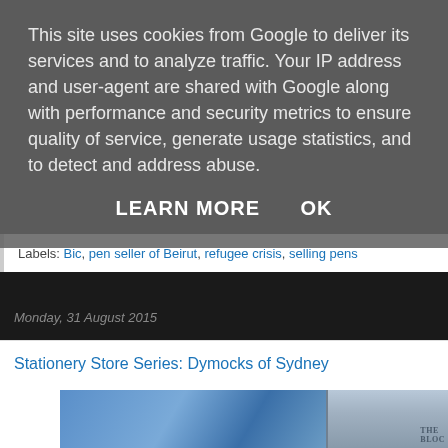This site uses cookies from Google to deliver its services and to analyze traffic. Your IP address and user-agent are shared with Google along with performance and security metrics to ensure quality of service, generate usage statistics, and to detect and address abuse.
LEARN MORE   OK
Labels: Bic, pen seller of Beirut, refugee crisis, selling pens
Monday, 31 August 2015
Stationery Store Series: Dymocks of Sydney
[Figure (photo): Photograph of Dymocks store exterior in Sydney, showing architectural details of a classical building with columns and a modern glass building adjacent, with the text 'THE BLOC' partially visible.]